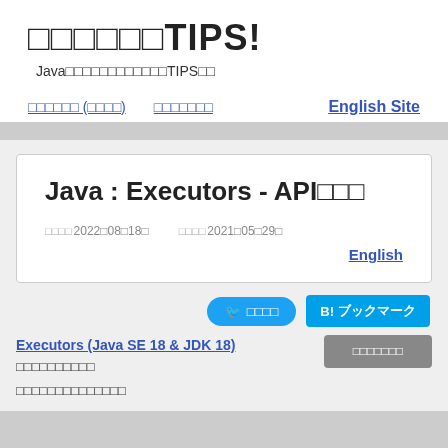□□□□□□TIPS!
Java□□□□□□□□□□□□TIPS□□
□□□□□□ (□□□□)   □□□□□□□   English Site
Java : Executors - API□□□
□□□□2022□08□18□   □□□□2021□05□29□
English
□ □□□□   B! ブックマーク
Executors (Java SE 18 & JDK 18) □□□□□□□□□□ □□□□□□□□□□□□□□
□□□□□□□